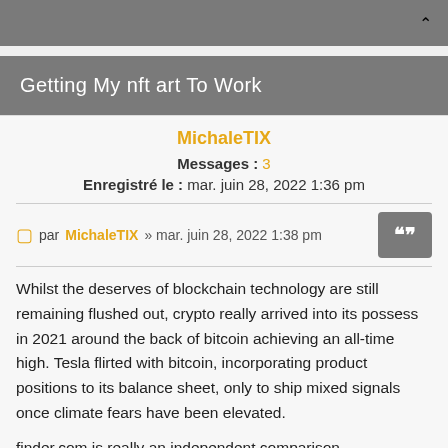Getting My nft art To Work
MichaleTIX
Messages : 3
Enregistré le : mar. juin 28, 2022 1:36 pm
par MichaleTIX » mar. juin 28, 2022 1:38 pm
Whilst the deserves of blockchain technology are still remaining flushed out, crypto really arrived into its possess in 2021 around the back of bitcoin achieving an all-time high. Tesla flirted with bitcoin, incorporating product positions to its balance sheet, only to ship mixed signals once climate fears have been elevated.
finder.com is really an independent comparison